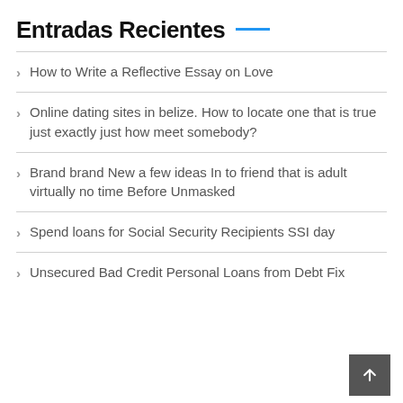Entradas Recientes
How to Write a Reflective Essay on Love
Online dating sites in belize. How to locate one that is true just exactly just how meet somebody?
Brand brand New a few ideas In to friend that is adult virtually no time Before Unmasked
Spend loans for Social Security Recipients SSI day
Unsecured Bad Credit Personal Loans from Debt Fix